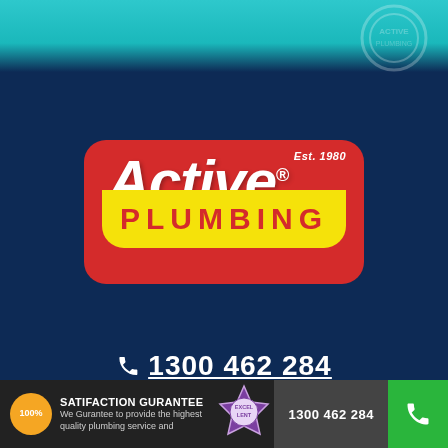[Figure (logo): Active Plumbing logo: red rounded rectangle with 'Active' in white italic bold text and 'Est. 1980' in top right, yellow pill shape below with 'PLUMBING' in red bold spaced capitals, registered trademark symbol]
1300 462 284
[Figure (infographic): Bottom bar with 100% satisfaction guarantee badge, text 'SATIFACTION GURANTEE - We Gurantee to provide the highest quality plumbing service and', an Excellent award badge, phone number 1300 462 284, and green call button]